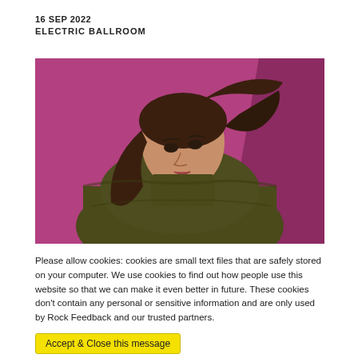16 SEP 2022
ELECTRIC BALLROOM
[Figure (photo): A young woman with long brown hair wearing an olive/dark green chunky sweater, leaning forward and looking up at the camera. The background is a vibrant magenta/pink colour with a darker shadow on the right side.]
Please allow cookies: cookies are small text files that are safely stored on your computer. We use cookies to find out how people use this website so that we can make it even better in future. These cookies don't contain any personal or sensitive information and are only used by Rock Feedback and our trusted partners.
Accept & Close this message